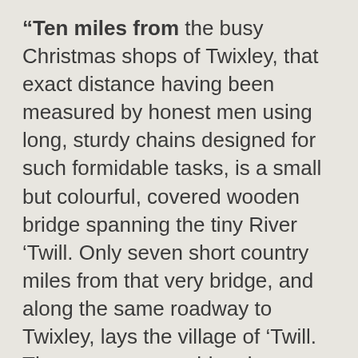“Ten miles from the busy Christmas shops of Twixley, that exact distance having been measured by honest men using long, sturdy chains designed for such formidable tasks, is a small but colourful, covered wooden bridge spanning the tiny River ‘Twill. Only seven short country miles from that very bridge, and along the same roadway to Twixley, lays the village of ‘Twill. The contemporary historian, one preferring to ensure accuracy in every detail, may choose to satisfy that peculiar whim by referring to that pretty place as ‘Twill Over-the-Hill’. ‘Twill being a sleepy place until the time of a great fire, was situated close to the bridge, and quaintly known as Twillington-on-the-River. The